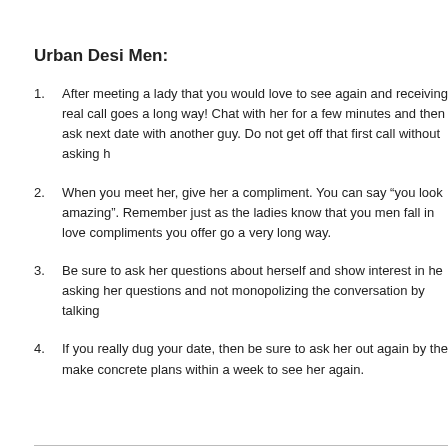Urban Desi Men:
1.   After meeting a lady that you would love to see again and receiving a real call goes a long way! Chat with her for a few minutes and then ask next date with another guy. Do not get off that first call without asking h
2.   When you meet her, give her a compliment. You can say “you look amazing”. Remember just as the ladies know that you men fall in love compliments you offer go a very long way.
3.   Be sure to ask her questions about herself and show interest in he asking her questions and not monopolizing the conversation by talking
4.   If you really dug your date, then be sure to ask her out again by the make concrete plans within a week to see her again.